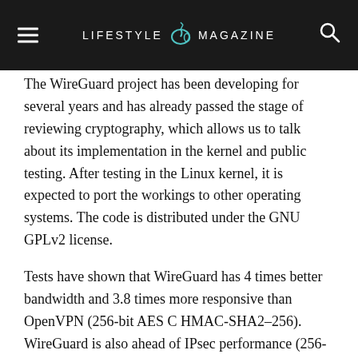LIFESTYLE MAGAZINE
The WireGuard project has been developing for several years and has already passed the stage of reviewing cryptography, which allows us to talk about its implementation in the kernel and public testing. After testing in the Linux kernel, it is expected to port the workings to other operating systems. The code is distributed under the GNU GPLv2 license.
Tests have shown that WireGuard has 4 times better bandwidth and 3.8 times more responsive than OpenVPN (256-bit AES C HMAC-SHA2–256). WireGuard is also ahead of IPsec performance (256-bit ChaCha20+Poly1305 and AES-256-GCM-128), but a significant gain for IPsec is noticeable mainly in the area of reducing latency.